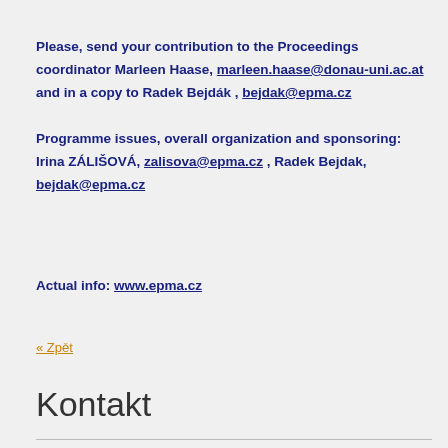Please, send your contribution to the Proceedings coordinator Marleen Haase, marleen.haase@donau-uni.ac.at and in a copy to Radek Bejdák , bejdak@epma.cz
Programme issues, overall organization and sponsoring: Irina ZÁLIŠOVÁ, zalisova@epma.cz , Radek Bejdak, bejdak@epma.cz
Actual info: www.epma.cz
« Zpět
Kontakt